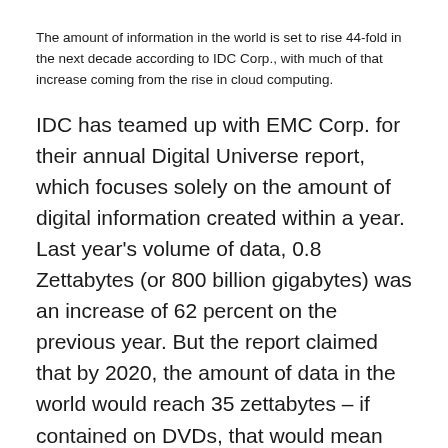The amount of information in the world is set to rise 44-fold in the next decade according to IDC Corp., with much of that increase coming from the rise in cloud computing.
IDC has teamed up with EMC Corp. for their annual Digital Universe report, which focuses solely on the amount of digital information created within a year. Last year's volume of data, 0.8 Zettabytes (or 800 billion gigabytes) was an increase of 62 percent on the previous year. But the report claimed that by 2020, the amount of data in the world would reach 35 zettabytes – if contained on DVDs, that would mean that they could be stacked halfway to Mars.
Two years ago, the report caused a stir when it was revealed that the amount of data created outstripped the available global storage capacity.